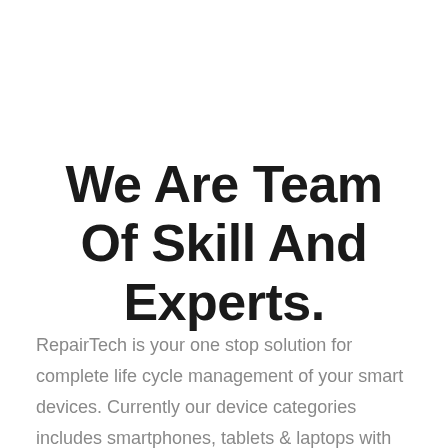We Are Team Of Skill And Experts.
RepairTech is your one stop solution for complete life cycle management of your smart devices. Currently our device categories includes smartphones, tablets & laptops with more upcoming range of smart devices to be served. RepairTech helps in repairing your device, resell